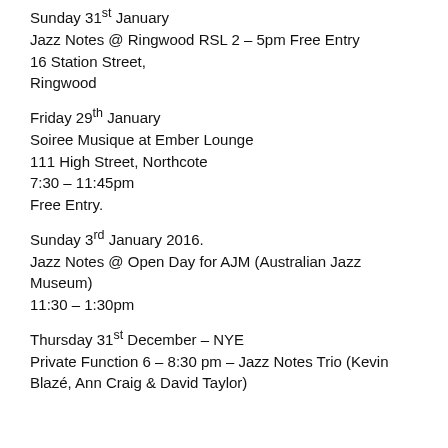Sunday 31st January
Jazz Notes @ Ringwood RSL 2 – 5pm Free Entry
16 Station Street,
Ringwood
Friday 29th January
Soiree Musique at Ember Lounge
111 High Street, Northcote
7:30 – 11:45pm
Free Entry.
Sunday 3rd January 2016.
Jazz Notes @ Open Day for AJM (Australian Jazz Museum)
11:30 – 1:30pm
Thursday 31st December – NYE
Private Function 6 – 8:30 pm – Jazz Notes Trio (Kevin Blazé, Ann Craig & David Taylor)